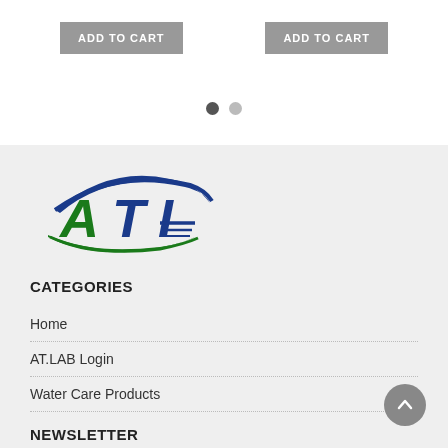ADD TO CART (left button)
ADD TO CART (right button)
[Figure (other): Pagination dots: one dark filled circle and one light filled circle]
[Figure (logo): ATI logo with green letters 'ATI' and blue swoosh oval, green swoosh below]
CATEGORIES
Home
AT.LAB Login
Water Care Products
NEWSLETTER